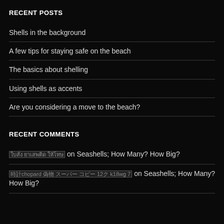RECENT POSTS
Shells in the background
A few tips for staying safe on the beach
The basics about shelling
Using shells as accents
Are you considering a move to the beach?
RECENT COMMENTS
ใบสั่ง ยาเสพติด ให้โทษ on Seashells; How Many? How Big?
時計chopard 偽物 スーパー コピー 12ク k18wg 7 on Seashells; How Many? How Big?